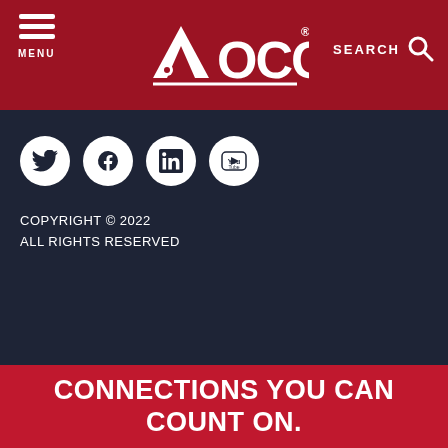[Figure (logo): OCC logo with red background, hamburger menu icon on left, AOCC logo in center, SEARCH with magnifier icon on right]
[Figure (other): Social media icons: Twitter, Facebook, LinkedIn, YouTube on dark navy background]
COPYRIGHT © 2022
ALL RIGHTS RESERVED
CONNECTIONS YOU CAN COUNT ON.